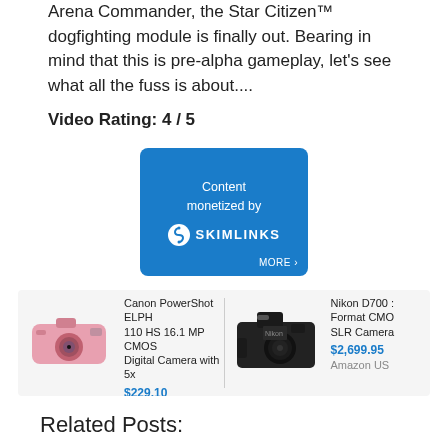Arena Commander, the Star Citizen™ dogfighting module is finally out. Bearing in mind that this is pre-alpha gameplay, let's see what all the fuss is about....
Video Rating: 4 / 5
[Figure (logo): Skimlinks content monetization badge - blue rounded square with text 'Content monetized by SKIMLINKS' and MORE link]
[Figure (photo): Canon PowerShort ELPH 110 HS pink digital camera product image]
Canon PowerShot ELPH 110 HS 16.1 MP CMOS Digital Camera with 5x
$229.10
Amazon US
[Figure (photo): Nikon D700 Full Format CMOS SLR Camera black DSLR product image]
Nikon D700 : Format CMO SLR Camera
$2,699.95
Amazon US
Related Posts:
Star Citizen: AI Design in Vanduul Swarm
Star Citizen: AI Design in Vanduul Swarm
Star Citizen: AI Design in Vanduul S...